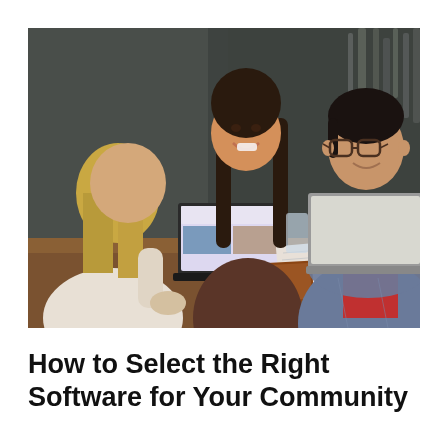[Figure (photo): Three people sitting around a wooden table with laptops. A person with blonde hair seen from behind on the left, a smiling woman with long dark hair in the center, and a person with short dark hair and glasses on the right wearing a denim jacket. Notebooks and drinks on the table. Dark textured wall in background with tall grass/plant decor.]
How to Select the Right Software for Your Community